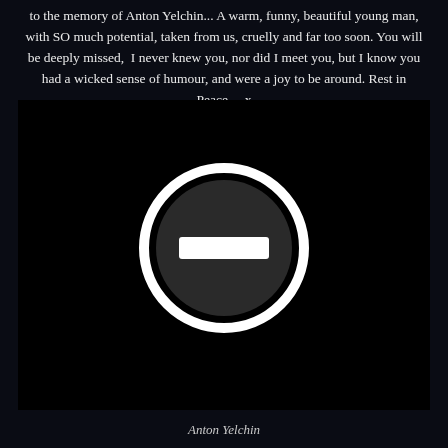to the memory of Anton Yelchin... A warm, funny, beautiful young man, with SO much potential, taken from us, cruelly and far too soon. You will be deeply missed,  I never knew you, nor did I meet you, but I know you had a wicked sense of humour, and were a joy to be around. Rest in Peace… x
[Figure (photo): Dark/black image with a circular symbol (resembling a no-entry or blocked icon) in the center — a white-outlined dark circle with a white horizontal rectangle inside it, on a black background.]
Anton Yelchin